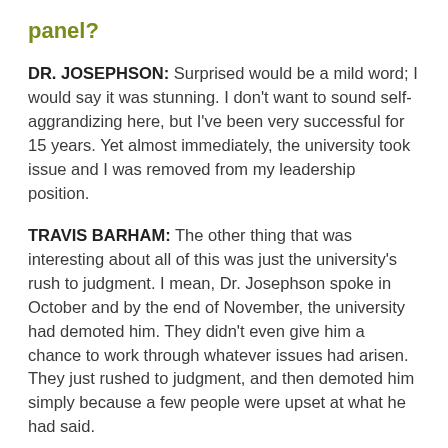panel?
DR. JOSEPHSON: Surprised would be a mild word; I would say it was stunning. I don't want to sound self-aggrandizing here, but I've been very successful for 15 years. Yet almost immediately, the university took issue and I was removed from my leadership position.
TRAVIS BARHAM: The other thing that was interesting about all of this was just the university's rush to judgment. I mean, Dr. Josephson spoke in October and by the end of November, the university had demoted him. They didn't even give him a chance to work through whatever issues had arisen. They just rushed to judgment, and then demoted him simply because a few people were upset at what he had said.